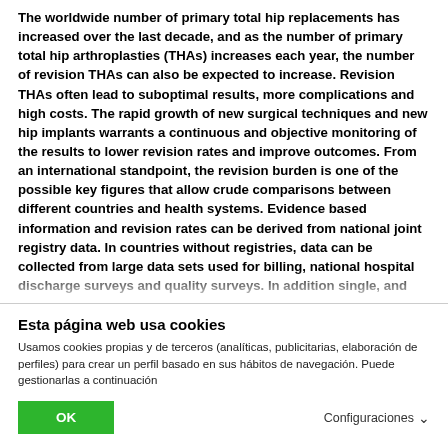The worldwide number of primary total hip replacements has increased over the last decade, and as the number of primary total hip arthroplasties (THAs) increases each year, the number of revision THAs can also be expected to increase. Revision THAs often lead to suboptimal results, more complications and high costs. The rapid growth of new surgical techniques and new hip implants warrants a continuous and objective monitoring of the results to lower revision rates and improve outcomes. From an international standpoint, the revision burden is one of the possible key figures that allow crude comparisons between different countries and health systems. Evidence based information and revision rates can be derived from national joint registry data. In countries without registries, data can be collected from large data sets used for billing, national hospital discharge surveys and quality surveys. In addition single, and
Esta página web usa cookies
Usamos cookies propias y de terceros (analíticas, publicitarias, elaboración de perfiles) para crear un perfil basado en sus hábitos de navegación. Puede gestionarlas a continuación